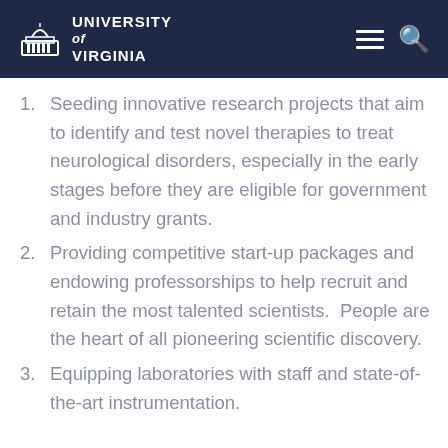University of Virginia
Seeding innovative research projects that aim to identify and test novel therapies to treat neurological disorders, especially in the early stages before they are eligible for government and industry grants.
Providing competitive start-up packages and endowing professorships to help recruit and retain the most talented scientists.  People are the heart of all pioneering scientific discovery.
Equipping laboratories with staff and state-of-the-art instrumentation.